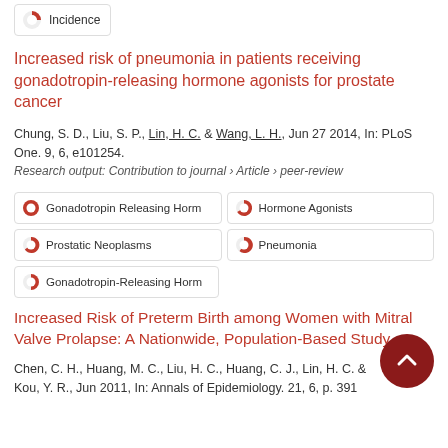[Figure (other): Partial pie chart badge labeled 'Incidence' visible at top of page]
Increased risk of pneumonia in patients receiving gonadotropin-releasing hormone agonists for prostate cancer
Chung, S. D., Liu, S. P., Lin, H. C. & Wang, L. H., Jun 27 2014, In: PLoS One. 9, 6, e101254.
Research output: Contribution to journal › Article › peer-review
[Figure (other): Keyword badge: 100% pie - Gonadotropin Releasing Horm]
[Figure (other): Keyword badge: ~70% pie - Hormone Agonists]
[Figure (other): Keyword badge: ~70% pie - Prostatic Neoplasms]
[Figure (other): Keyword badge: ~60% pie - Pneumonia]
[Figure (other): Keyword badge: ~50% pie - Gonadotropin-Releasing Horm]
Increased Risk of Preterm Birth among Women with Mitral Valve Prolapse: A Nationwide, Population-Based Study
Chen, C. H., Huang, M. C., Liu, H. C., Huang, C. J., Lin, H. C. & Kou, Y. R., Jun 2011, In: Annals of Epidemiology. 21, 6, p. 391